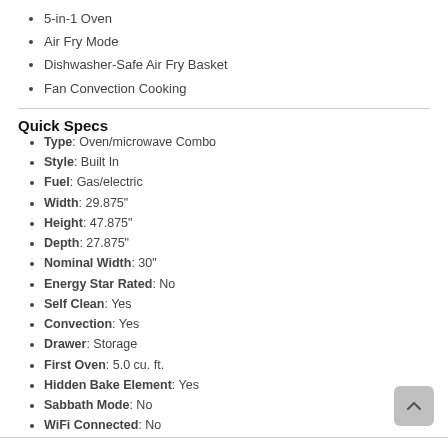5-in-1 Oven
Air Fry Mode
Dishwasher-Safe Air Fry Basket
Fan Convection Cooking
Quick Specs
Type: Oven/microwave Combo
Style: Built In
Fuel: Gas/electric
Width: 29.875"
Height: 47.875"
Depth: 27.875"
Nominal Width: 30"
Energy Star Rated: No
Self Clean: Yes
Convection: Yes
Drawer: Storage
First Oven: 5.0 cu. ft.
Hidden Bake Element: Yes
Sabbath Mode: No
WiFi Connected: No
See More